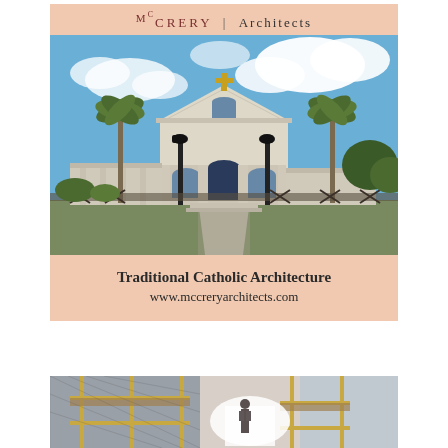[Figure (logo): McCrery Architects logo with small-caps text]
[Figure (photo): Exterior photo of a traditional Catholic church building with classical architecture, palm trees, street lamps, blue sky with clouds, and a cross atop the pediment]
Traditional Catholic Architecture
www.mccreryarchitects.com
[Figure (photo): Interior construction/renovation photo showing scaffolding inside a building under renovation]